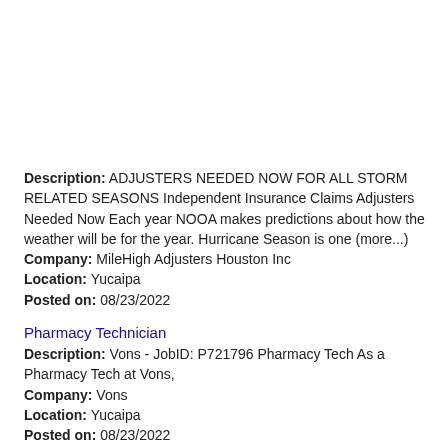Description: ADJUSTERS NEEDED NOW FOR ALL STORM RELATED SEASONS Independent Insurance Claims Adjusters Needed Now Each year NOOA makes predictions about how the weather will be for the year. Hurricane Season is one (more...) Company: MileHigh Adjusters Houston Inc Location: Yucaipa Posted on: 08/23/2022
Pharmacy Technician
Description: Vons - JobID: P721796 Pharmacy Tech As a Pharmacy Tech at Vons, Company: Vons Location: Yucaipa Posted on: 08/23/2022
Overnight Mobile Fueler - CDL Driver - San Diego, CA